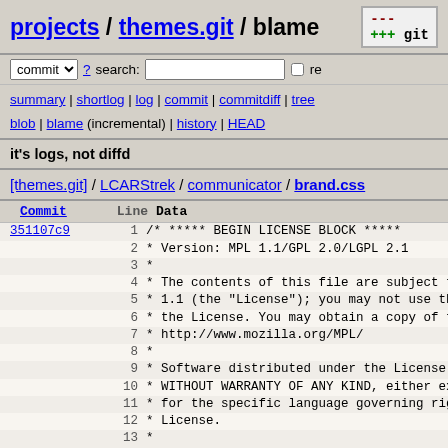projects / themes.git / blame
it's logs, not diffd
[themes.git] / LCARStrek / communicator / brand.css
| Commit | Line | Data |
| --- | --- | --- |
| 351107c9 | 1 | /* ***** BEGIN LICENSE BLOCK ***** |
|  | 2 |  * Version: MPL 1.1/GPL 2.0/LGPL 2.1 |
|  | 3 |  * |
|  | 4 |  * The contents of this file are subject to |
|  | 5 |  * 1.1 (the "License"); you may not use this |
|  | 6 |  * the License. You may obtain a copy of the |
|  | 7 |  * http://www.mozilla.org/MPL/ |
|  | 8 |  * |
|  | 9 |  * Software distributed under the License is |
|  | 10 |  * WITHOUT WARRANTY OF ANY KIND, either expr |
|  | 11 |  * for the specific language governing right |
|  | 12 |  * License. |
|  | 13 |  * |
|  | 14 |  * The Original Code is "Classic" theme of m |
|  | 15 |  * |
|  | 16 |  * The Initial Developer of the Original Cod |
|  | 17 |  * the Mozilla Organization. |
|  | 18 |  * Portions created by the Initial Developer |